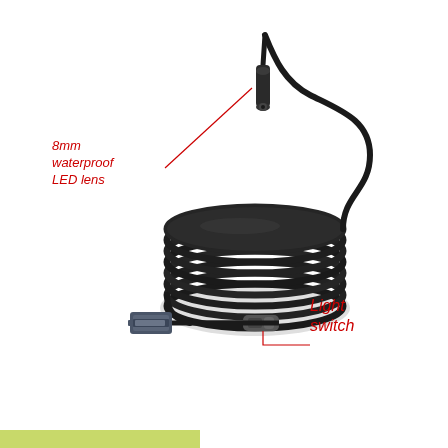[Figure (engineering-diagram): USB endoscope camera with labeled parts. The device shows a long flexible cable coiled in a bundle, with a small cylindrical camera head (8mm waterproof LED lens) at the flexible end and a USB-A connector at the other end. A small inline switch module (light switch) is located along the cable near the USB plug. Red callout lines label the '8mm waterproof LED lens' on the upper left and 'Light switch' on the lower right.]